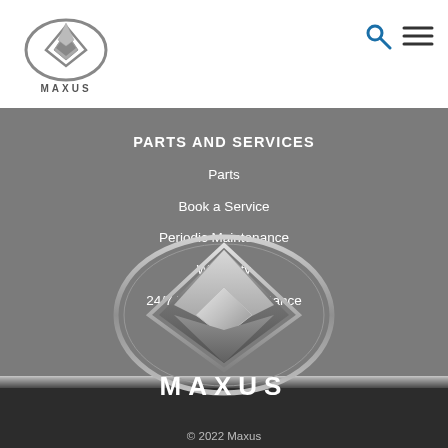[Figure (logo): Maxus logo in header — silver oval emblem with diamond/arrow shape inside, with MAXUS text below in grey]
[Figure (logo): Search icon (magnifying glass) and hamburger menu icon in top right header]
PARTS AND SERVICES
Parts
Book a Service
Periodic Maintenance
Warranty
24/7 Roadside Assistance
[Figure (logo): Large Maxus silver oval logo emblem centered in dark footer area with MAXUS wordmark below]
© 2022 Maxus